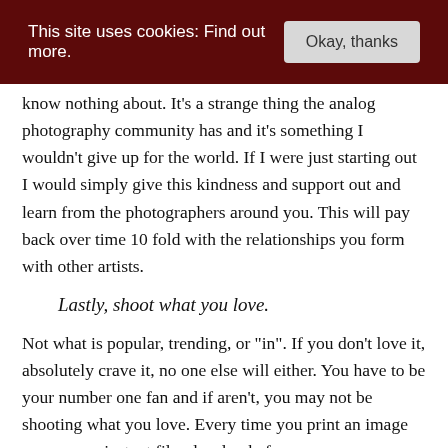This site uses cookies: Find out more.  Okay, thanks
know nothing about. It’s a strange thing the analog photography community has and it’s something I wouldn’t give up for the world. If I were just starting out I would simply give this kindness and support out and learn from the photographers around you. This will pay back over time 10 fold with the relationships you form with other artists.
Lastly, shoot what you love.
Not what is popular, trending, or “in”. If you don’t love it, absolutely crave it, no one else will either. You have to be your number one fan and if aren’t, you may not be shooting what you love. Every time you print an image or see your instant film develop before your eyes you should be bursting with excitement. This excitement is contagious even when you are not around, viewers can see it through the images you create.